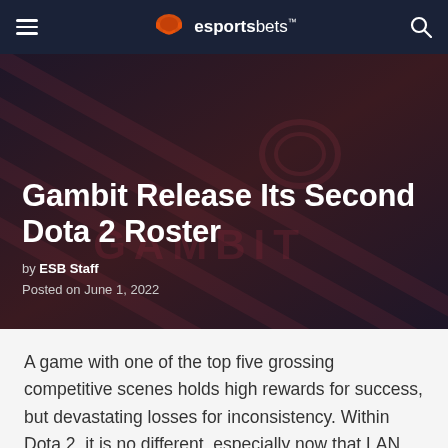esportsbets
[Figure (illustration): Dark maroon/navy hero banner with diagonal stripe texture and faint Gambit logo watermark in the background]
Gambit Release Its Second Dota 2 Roster
by ESB Staff
Posted on June 1, 2022
A game with one of the top five grossing competitive scenes holds high rewards for success, but devastating losses for inconsistency. Within Dota 2, it is no different, especially now that LAN Play and